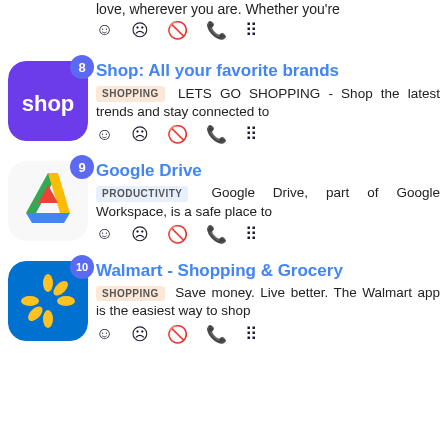love, wherever you are. Whether youre
[Figure (screenshot): App entry item 8: Shop: All your favorite brands - shopping app with purple icon]
[Figure (screenshot): App entry item 9: Google Drive - productivity app with Drive triangle icon]
[Figure (screenshot): App entry item 10: Walmart - Shopping & Grocery - shopping app with blue/yellow icon]